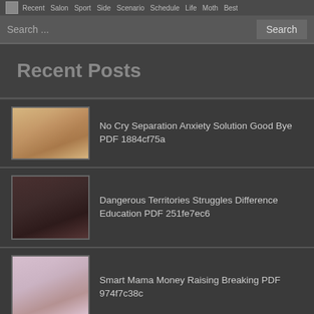Recent Salon Sport Side Scenario Schedule Life Moth Best
Search ...
Recent Posts
No Cry Separation Anxiety Solution Good Bye PDF 1884cf75a
Dangerous Territories Struggles Difference Education PDF 251fe7ec6
Smart Mama Money Raising Breaking PDF 974f7c38c
Cultivating Rosebuds Education Cherokee 1851 1909 PDF D0301896f